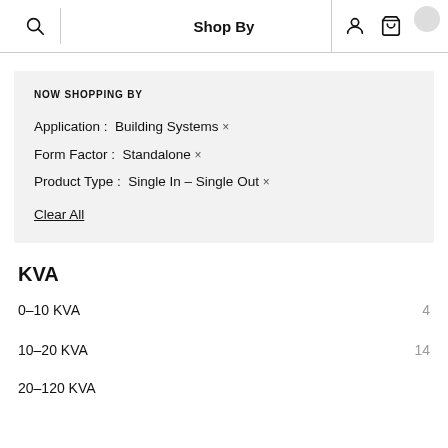Shop By
NOW SHOPPING BY
Application : Building Systems ×
Form Factor : Standalone ×
Product Type : Single In - Single Out ×
Clear All
KVA
0–10 KVA  4
10–20 KVA  14
20–120 KVA  …